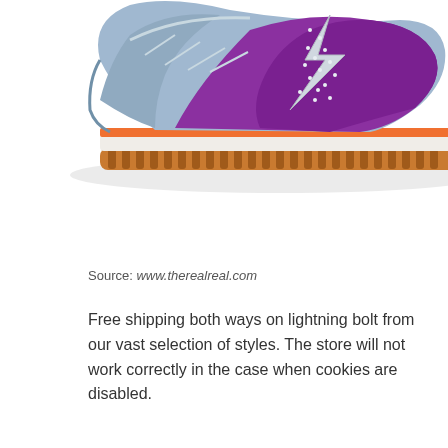[Figure (photo): A purple and light blue sneaker/trainer shoe with an orange sole and a silver rhinestone lightning bolt logo on the side, photographed against a white background. Partial top view showing the upper portion of the shoe.]
Source: www.therealreal.com
Free shipping both ways on lightning bolt from our vast selection of styles. The store will not work correctly in the case when cookies are disabled.